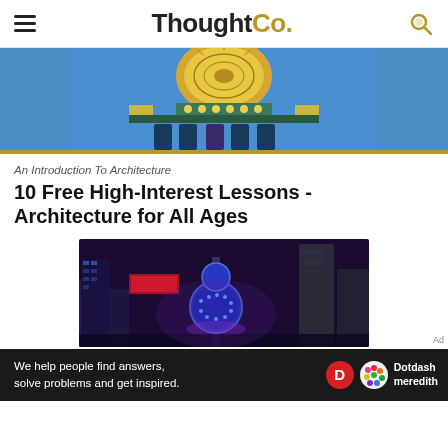ThoughtCo.
[Figure (photo): Ornate tiled building facade with colorful mosaic patterns, green and gold decorative elements, arched windows, blue sky background — partial view cropped at top]
An Introduction To Architecture
10 Free High-Interest Lessons - Architecture for All Ages
[Figure (photo): Night cityscape with illuminated skyscrapers, a prominent spherical blue-lit tower in the center, purple and blue tones]
We help people find answers, solve problems and get inspired.
[Figure (logo): Dotdash Meredith logo — red circle D icon and colorful flower icon beside the Dotdash meredith text]